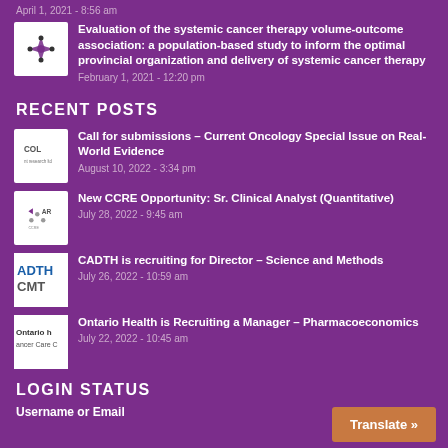April 1, 2021 - 8:56 am
Evaluation of the systemic cancer therapy volume-outcome association: a population-based study to inform the optimal provincial organization and delivery of systemic cancer therapy
February 1, 2021 - 12:20 pm
RECENT POSTS
Call for submissions – Current Oncology Special Issue on Real-World Evidence
August 10, 2022 - 3:34 pm
New CCRE Opportunity: Sr. Clinical Analyst (Quantitative)
July 28, 2022 - 9:45 am
CADTH is recruiting for Director – Science and Methods
July 26, 2022 - 10:59 am
Ontario Health is Recruiting a Manager – Pharmacoeconomics
July 22, 2022 - 10:45 am
LOGIN STATUS
Username or Email